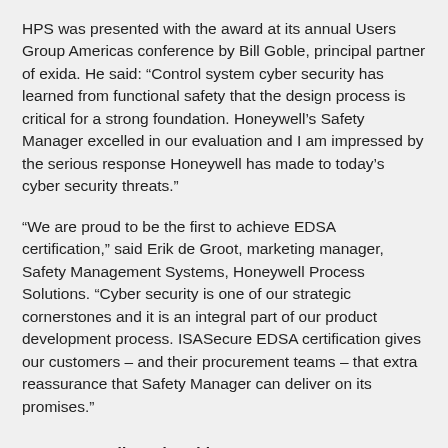HPS was presented with the award at its annual Users Group Americas conference by Bill Goble, principal partner of exida. He said: “Control system cyber security has learned from functional safety that the design process is critical for a strong foundation. Honeywell’s Safety Manager excelled in our evaluation and I am impressed by the serious response Honeywell has made to today’s cyber security threats.”
“We are proud to be the first to achieve EDSA certification,” said Erik de Groot, marketing manager, Safety Management Systems, Honeywell Process Solutions. “Cyber security is one of our strategic cornerstones and it is an integral part of our product development process. ISASecure EDSA certification gives our customers – and their procurement teams – that extra reassurance that Safety Manager can deliver on its promises.”
Contact Details and Archive…
Honeywell Control Systems
Related Articles…